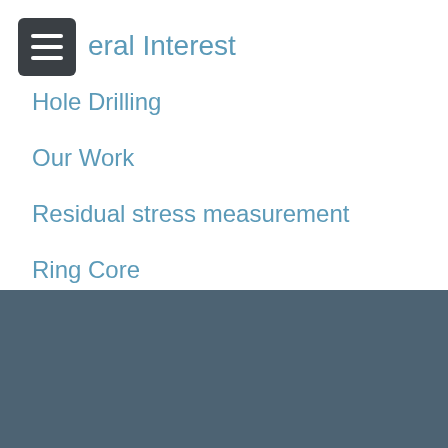General Interest
Hole Drilling
Our Work
Residual stress measurement
Ring Core
Technical Publications
Uncategorized
[Figure (logo): Hill Engineering logo — geometric wireframe sphere icon with HILL ENGINEERING text in white on dark teal footer background]
[Figure (other): reCAPTCHA widget showing robot icon with Privacy and Terms links]